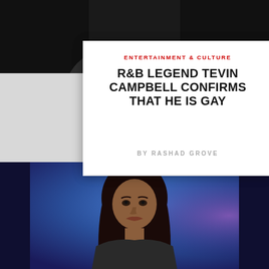[Figure (photo): Top portion of a person in a tuxedo with bow tie, dark background, cropped at chest level]
ENTERTAINMENT & CULTURE
R&B LEGEND TEVIN CAMPBELL CONFIRMS THAT HE IS GAY
BY RASHAD GROVE
[Figure (photo): Woman with long dark hair against a blue/purple stage background, cropped portrait]